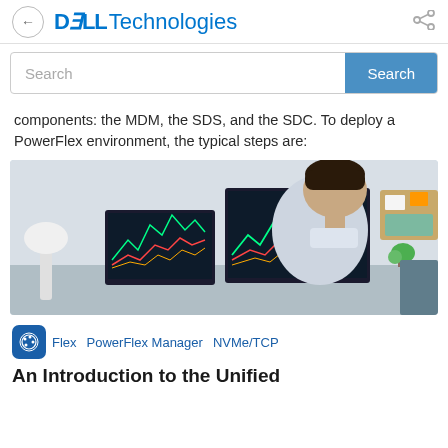← DELL Technologies
Search
components: the MDM, the SDS, and the SDC. To deploy a PowerFlex environment, the typical steps are:
[Figure (photo): A man in a white shirt sits at a desk looking at two computer monitors displaying colorful financial trading charts. A white desk lamp is visible on the left, and a bulletin board with papers and a small plant are visible in the background.]
Flex   PowerFlex Manager   NVMe/TCP
An Introduction to the Unified